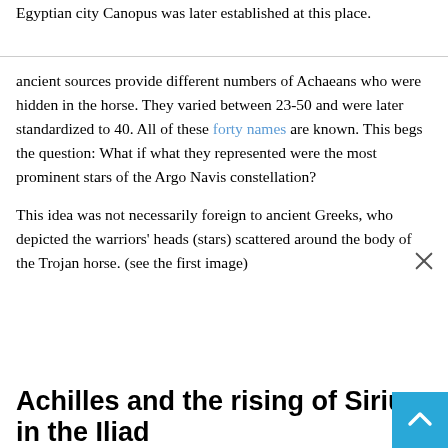Egyptian city Canopus was later established at this place.
ancient sources provide different numbers of Achaeans who were hidden in the horse. They varied between 23-50 and were later standardized to 40. All of these forty names are known. This begs the question: What if what they represented were the most prominent stars of the Argo Navis constellation?
This idea was not necessarily foreign to ancient Greeks, who depicted the warriors' heads (stars) scattered around the body of the Trojan horse. (see the first image)
Achilles and the rising of Sirius in the Iliad